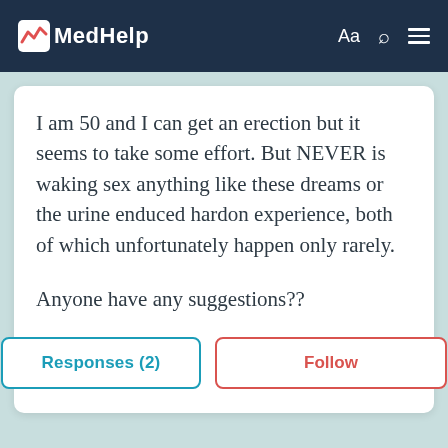MedHelp
I am 50 and I can get an erection but it seems to take some effort. But NEVER is waking sex anything like these dreams or the urine enduced hardon experience, both of which unfortunately happen only rarely.
Anyone have any suggestions??
Responses (2)
Follow